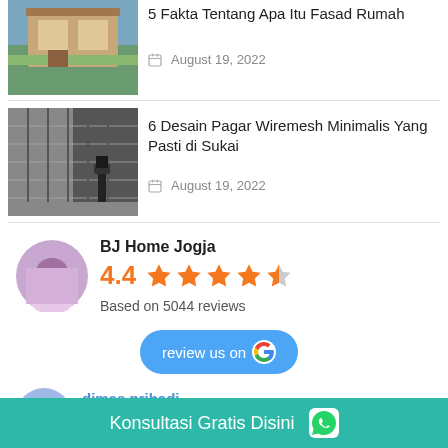[Figure (photo): Thumbnail of a modern house exterior]
5 Fakta Tentang Apa Itu Fasad Rumah
August 19, 2022
[Figure (photo): Thumbnail of a wiremesh minimalist fence design]
6 Desain Pagar Wiremesh Minimalis Yang Pasti di Sukai
August 19, 2022
[Figure (photo): BJ Home Jogja business avatar/logo]
BJ Home Jogja
4.4
Based on 5044 reviews
review us on
[Figure (logo): Google logo colored G]
[Figure (photo): Reviewer profile avatar for dimas prihadi]
dimas prihadi
11:16 23 May 20
Konsultasi Gratis Disini